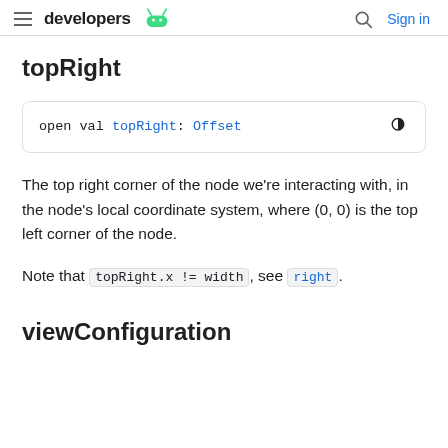developers | Sign in
topRight
open val topRight: Offset
The top right corner of the node we're interacting with, in the node's local coordinate system, where (0, 0) is the top left corner of the node.
Note that topRight.x != width, see right.
viewConfiguration